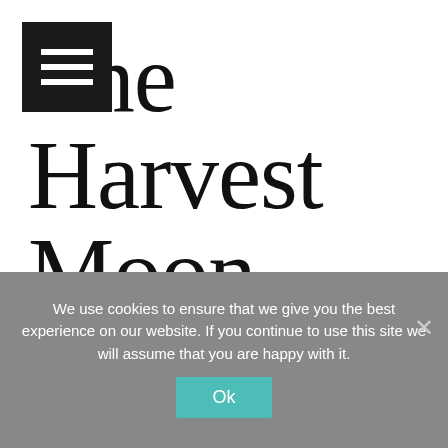The Harvest Moon – Boost your psychic Wi-Fi
We use cookies to ensure that we give you the best experience on our website. If you continue to use this site we will assume that you are happy with it.